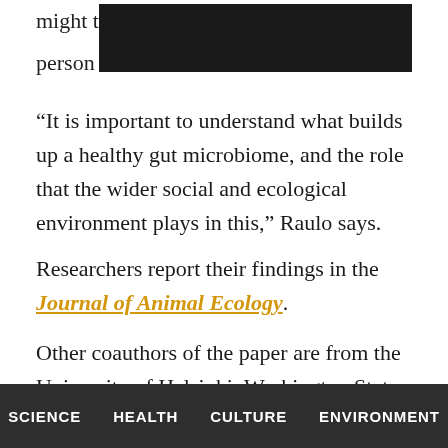might t[REDACTED]er person[REDACTED]
“It is important to understand what builds up a healthy gut microbiome, and the role that the wider social and ecological environment plays in this,” Raulo says.
Researchers report their findings in the Journal of Animal Ecology.
Other coauthors of the paper are from the University of Helsinki; Washington State University; Northwestern University; the University of California, San Diego; the University of Colorado, Boulder; the University of Illinois, Urbana-Champaign; and the J. Craig Vintner Institute.
SCIENCE   HEALTH   CULTURE   ENVIRONMENT